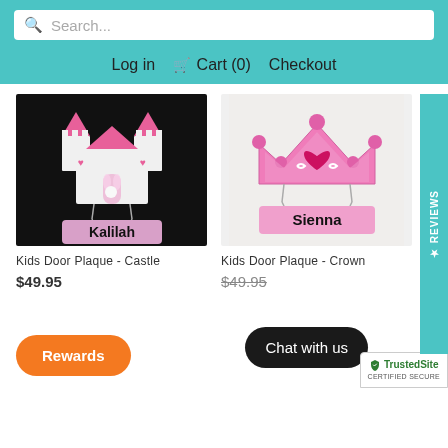Search... | Log in | Cart (0) | Checkout
[Figure (photo): Kids Door Plaque - Castle: a white castle with pink turrets on black background, with a pink name plaque reading 'Kalilah' hanging below on chains]
[Figure (photo): Kids Door Plaque - Crown: a pink crown with a heart on white/light background, with a pink name plaque reading 'Sienna' hanging below on chains]
Kids Door Plaque - Castle
$49.95
Kids Door Plaque - Crown
$49.95
Rewards
Chat with us
TrustedSite CERTIFIED SECURE